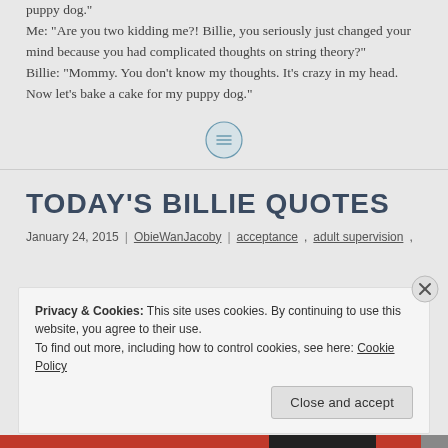puppy dog."
Me: "Are you two kidding me?! Billie, you seriously just changed your mind because you had complicated thoughts on string theory?"
Billie: "Mommy. You don't know my thoughts. It's crazy in my head. Now let's bake a cake for my puppy dog."
[Figure (other): A circular icon with three horizontal lines (hamburger/menu style), centered horizontally with a light blue circular background highlight.]
TODAY'S BILLIE QUOTES
January 24, 2015  |  ObieWanJacoby  |  acceptance, adult supervision,
Privacy & Cookies: This site uses cookies. By continuing to use this website, you agree to their use.
To find out more, including how to control cookies, see here: Cookie Policy